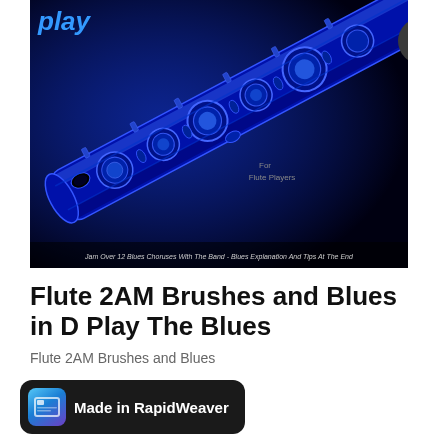[Figure (photo): Close-up photo of a flute with blue tint/tone on black background. Text 'play' visible in blue top left. Text 'For Flute Players' on the right side. Caption at bottom: 'Jam Over 12 Blues Choruses With The Band - Blues Explanation And Tips At The End']
Flute 2AM Brushes and Blues in D Play The Blues
Flute 2AM Brushes and Blues
[Figure (logo): Made in RapidWeaver badge — dark rounded rectangle with RapidWeaver app icon and white bold text 'Made in RapidWeaver']